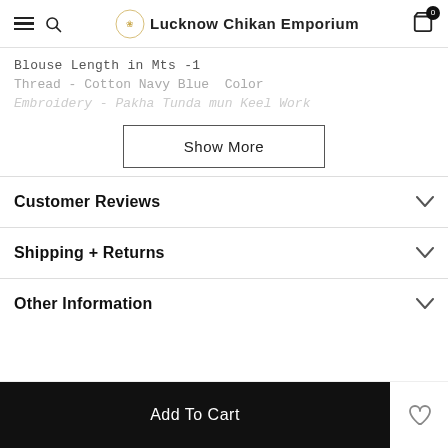Lucknow Chikan Emporium
Blouse Length in Mts -1
Thread - Cotton Navy Blue  Color
Embroidery - Pakha Tunda mun Keel Work
Show More
Customer Reviews
Shipping + Returns
Other Information
Add To Cart